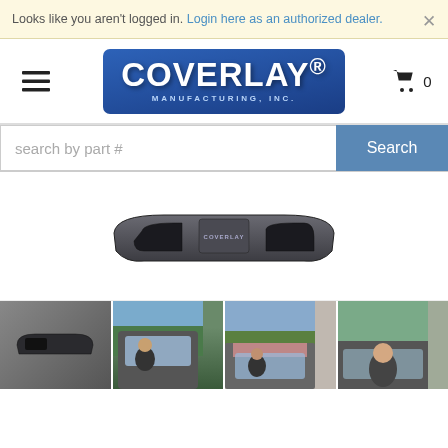Looks like you aren't logged in. Login here as an authorized dealer.
[Figure (logo): Coverlay Manufacturing Inc. logo — blue rounded rectangle with white bold text COVERLAY and subtitle MANUFACTURING, INC.]
[Figure (other): Search bar with placeholder 'search by part #' and blue Search button]
[Figure (photo): Coverlay dashboard cover product — dark gray/charcoal molded dash cap shown from top view on white background]
[Figure (photo): Four product thumbnail photos: dark dash part, truck interior with person, truck with faded pink/red roof, woman in vehicle]